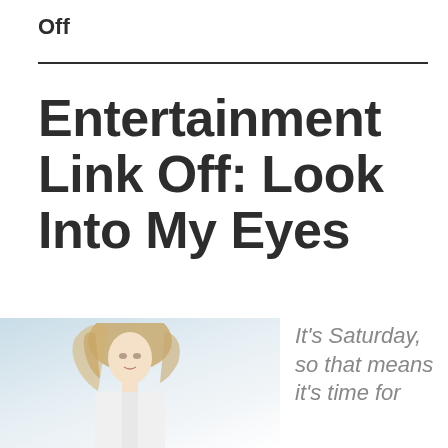Off
Entertainment Link Off: Look Into My Eyes
[Figure (photo): A blonde woman with wind-blown hair wearing a white top, photographed against a light blue/white outdoor background]
It's Saturday, so that means it's time for